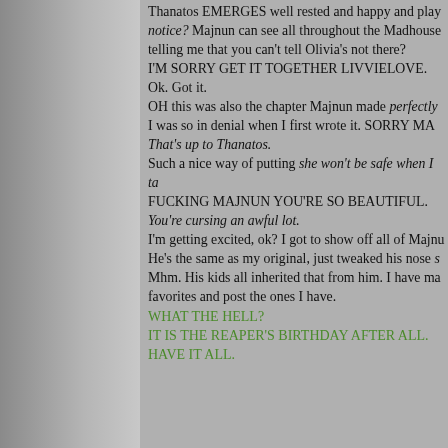this chapter Famaly gave up.
Thanatos EMERGES well rested and happy and play notice? Majnun can see all throughout the Madhouse telling me that you can't tell Olivia's not there? I'M SORRY GET IT TOGETHER LIVVIELOVE. Ok. Got it. OH this was also the chapter Majnun made perfectly I was so in denial when I first wrote it. SORRY MA That's up to Thanatos. Such a nice way of putting she won't be safe when I ta FUCKING MAJNUN YOU'RE SO BEAUTIFUL. You're cursing an awful lot. I'm getting excited, ok? I got to show off all of Majnu He's the same as my original, just tweaked his nose s Mhm. His kids all inherited that from him. I have ma favorites and post the ones I have.
WHAT THE HELL?
IT IS THE REAPER'S BIRTHDAY AFTER ALL.
HAVE IT ALL.